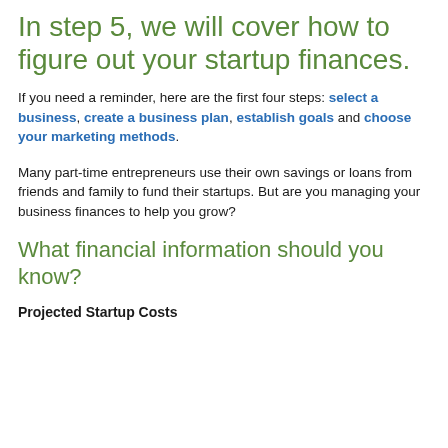In step 5, we will cover how to figure out your startup finances.
If you need a reminder, here are the first four steps: select a business, create a business plan, establish goals and choose your marketing methods.
Many part-time entrepreneurs use their own savings or loans from friends and family to fund their startups. But are you managing your business finances to help you grow?
What financial information should you know?
Projected Startup Costs